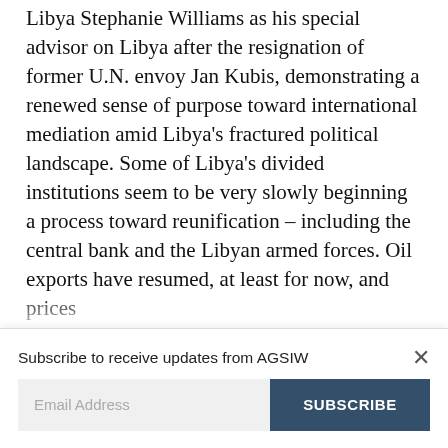Libya Stephanie Williams as his special advisor on Libya after the resignation of former U.N. envoy Jan Kubis, demonstrating a renewed sense of purpose toward international mediation amid Libya's fractured political landscape. Some of Libya's divided institutions seem to be very slowly beginning a process toward reunification – including the central bank and the Libyan armed forces. Oil exports have resumed, at least for now, and prices
Subscribe to receive updates from AGSIW
Email Address
SUBSCRIBE